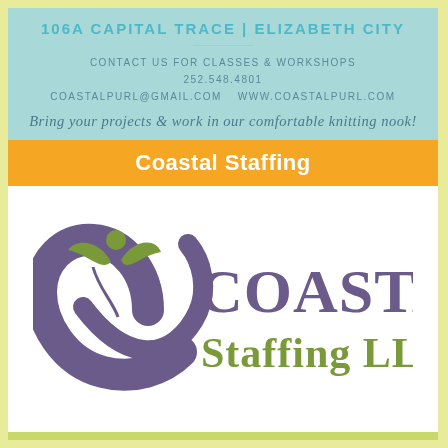106A CAPITAL TRACE | ELIZABETH CITY
CONTACT US FOR CLASSES & WORKSHOPS
252.548.4801
COASTALPURL@GMAIL.COM    WWW.COASTALPURL.COM
Bring your projects & work in our comfortable knitting nook!
Coastal Staffing
[Figure (logo): Coastal Staffing LLC logo with purple checkmark/person figure and olive green text reading 'COASTAL Staffing LLC']